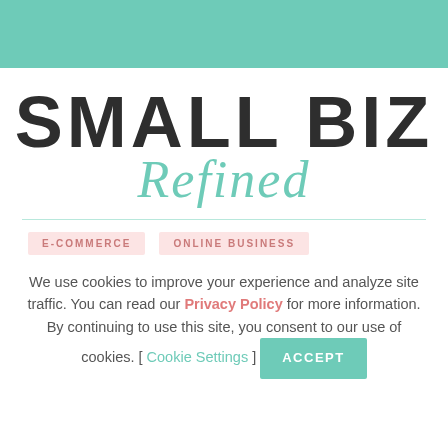[Figure (logo): Small Biz Refined logo with teal header bar, bold black uppercase SMALL BIZ text, and teal italic cursive Refined text]
E-COMMERCE
ONLINE BUSINESS
We use cookies to improve your experience and analyze site traffic. You can read our Privacy Policy for more information. By continuing to use this site, you consent to our use of cookies. [ Cookie Settings ]
ACCEPT